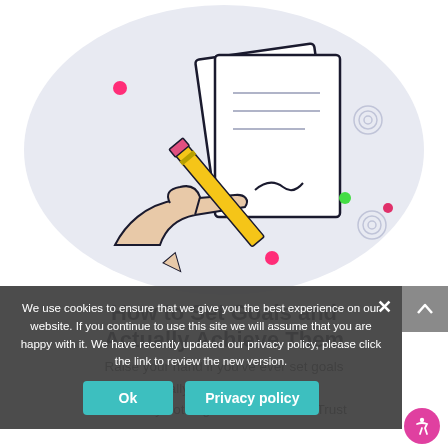[Figure (illustration): Illustration of a hand holding a yellow pencil, writing on documents/papers with signature. Light blue-grey oval background with decorative colored dots (pink, green) and spiral swirl designs on the right side.]
How to Set Goals and Actually Achieve Them
Raise your hand if you've ever set goals that really excited you but done absolutely nothing to achieve them. Trust
We use cookies to ensure that we give you the best experience on our website. If you continue to use this site we will assume that you are happy with it. We have recently updated our privacy policy, please click the link to review the new version.